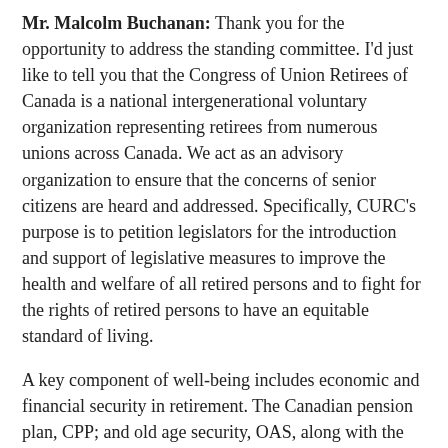Mr. Malcolm Buchanan: Thank you for the opportunity to address the standing committee. I'd just like to tell you that the Congress of Union Retirees of Canada is a national intergenerational voluntary organization representing retirees from numerous unions across Canada. We act as an advisory organization to ensure that the concerns of senior citizens are heard and addressed. Specifically, CURC's purpose is to petition legislators for the introduction and support of legislative measures to improve the health and welfare of all retired persons and to fight for the rights of retired persons to have an equitable standard of living.
A key component of well-being includes economic and financial security in retirement. The Canadian pension plan, CPP; and old age security, OAS, along with the guaranteed income supplement, GIS, are two key pillars in Canada's retirement income system. The third is a combination of private pension plans such as those negotiated by unions, RRSPs and savings. Only 37.5% of Ontario workers belong to an employer or workplace pension plan.